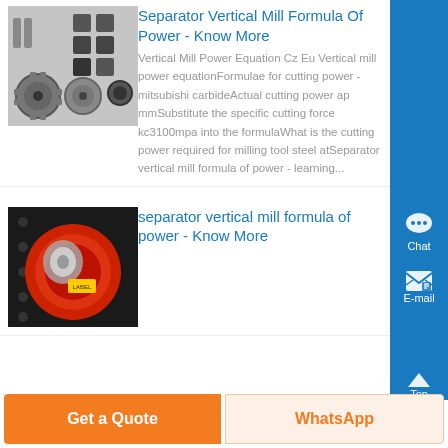[Figure (photo): Mechanical parts including gears, bolts, and square metal pieces on a grey surface]
Separator Vertical Mill Formula Of Power - Know More
Vertical Mill Power Equation Cz Eu Vertical mill power equationFormulae for cutting power - mitsubishi carbideActual cutting power ap mmSubstitute the specific cutting force kc3100mpa into the formulaWhat is the cutting power required for milling tool steel atSeparator vertical mill formula of power - learning...
[Figure (photo): Red and grey industrial separator vertical mill machinery close-up]
separator vertical mill formula of power - Know More